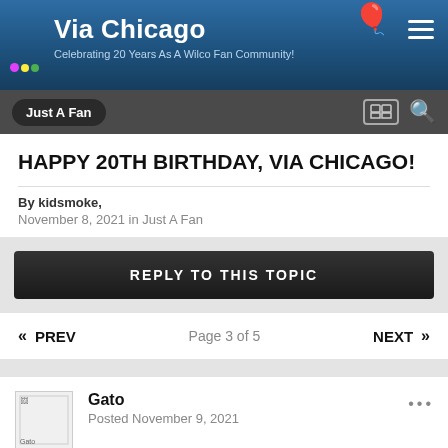Via Chicago — Celebrating 20 Years As A Wilco Fan Community!
HAPPY 20TH BIRTHDAY, VIA CHICAGO!
By kidsmoke, November 8, 2021 in Just A Fan
REPLY TO THIS TOPIC
« PREV  Page 3 of 5  NEXT »
Gato
Posted November 9, 2021